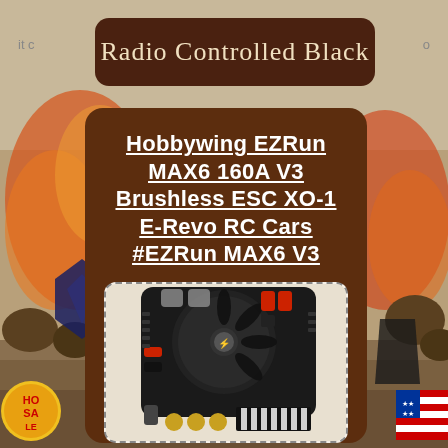Radio Controlled Black
Hobbywing EZRun MAX6 160A V3 Brushless ESC XO-1 E-Revo RC Cars #EZRun MAX6 V3
[Figure (photo): Photo of Hobbywing EZRun MAX6 V3 brushless ESC electronic speed controller, black with fan on top, red wiring connectors, gold bullet connectors, and black/white striped heat sink at bottom]